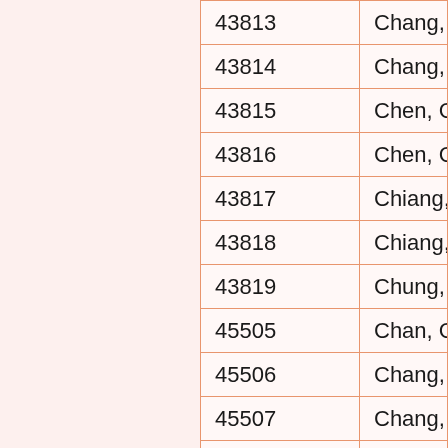| ID | Name |
| --- | --- |
| 43813 | Chang, Chia-H… |
| 43814 | Chang, Po-Sen… |
| 43815 | Chen, Chia-We… |
| 43816 | Chen, Chien-P… |
| 43817 | Chiang, Chien-… |
| 43818 | Chiang, Hui-Ch… |
| 43819 | Chung, Fong-J… |
| 45505 | Chan, Chun-Ka… |
| 45506 | Chang, Shu-Li… |
| 45507 | Chang, Yi-Fan… |
| 45508 | Chen, Huei-Jyu… |
| 45509 | Chen, Li-Wei |
| 45510 | Chen, Pei-Wen… |
| 45511 | Chen, Yen-Chu… |